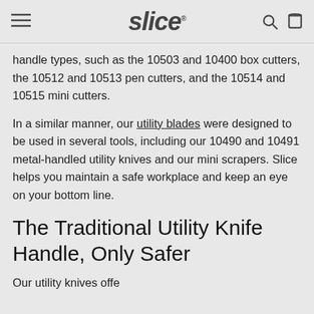slice
handle types, such as the 10503 and 10400 box cutters, the 10512 and 10513 pen cutters, and the 10514 and 10515 mini cutters.
In a similar manner, our utility blades were designed to be used in several tools, including our 10490 and 10491 metal-handled utility knives and our mini scrapers. Slice helps you maintain a safe workplace and keep an eye on your bottom line.
The Traditional Utility Knife Handle, Only Safer
Our utility knives offe the right tool...